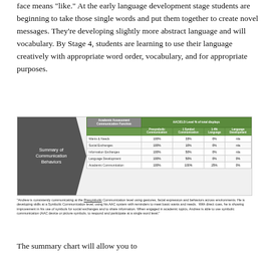face means "like." At the early language development stage students are beginning to take those single words and put them together to create novel messages. They're developing slightly more abstract language and will vocabulary. By Stage 4, students are learning to use their language creatively with appropriate word order, vocabulary, and for appropriate purposes.
[Figure (table-as-image): Summary of Communication Behaviors chart showing a table with columns for Presymbolic Communication, 1 Symbol Communication, 1-4% Language, and Language Development rows including Wants & Needs, Social Exchanges, Information Exchanges, Language Development, and Academic Communication with percentage values.]
"Andrew is consistently communicating at the Presymbolic Communication level using gestures, facial expression and behaviors across environments. He is developing skills at a Symbolic Communication level, using his AAC system with reminders to meet basic wants and needs. With direct cues, he is showing improvement in his use of symbols for social exchanges and to share information. When engaged in academic topics, Andrew is able to use symbolic communication (AAC device or picture symbols, to respond and participate at a single word level."
The summary chart will allow you to